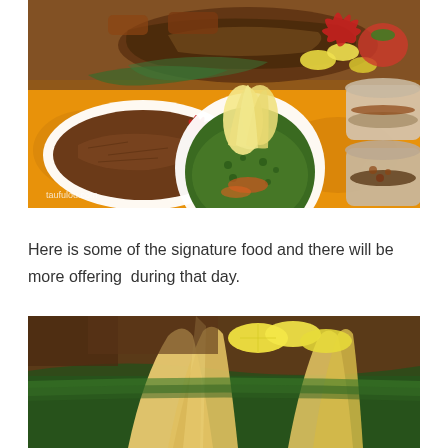[Figure (photo): A spread of Filipino buffet food on a table with orange/yellow fabric tablecloth. Dishes include grilled fish, pulled meat in a white oval dish, a salad with a banana flower centerpiece in a round white bowl, and two round clay pots with sauces. Watermark reads 'taufulou.com'.]
Here is some of the signature food and there will be more offering  during that day.
[Figure (photo): Close-up photo of banana flowers/buds with lemon slices and green banana leaves in the background.]